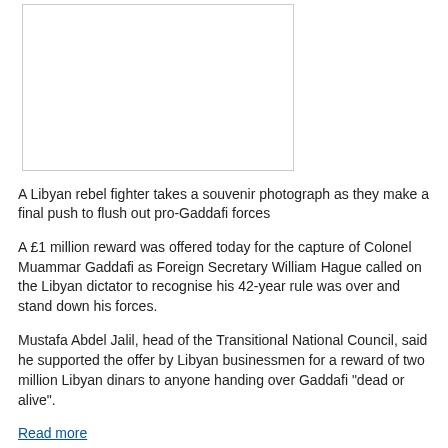[Figure (photo): Empty white placeholder box representing a photograph of a Libyan rebel fighter]
A Libyan rebel fighter takes a souvenir photograph as they make a final push to flush out pro-Gaddafi forces
A £1 million reward was offered today for the capture of Colonel Muammar Gaddafi as Foreign Secretary William Hague called on the Libyan dictator to recognise his 42-year rule was over and stand down his forces.
Mustafa Abdel Jalil, head of the Transitional National Council, said he supported the offer by Libyan businessmen for a reward of two million Libyan dinars to anyone handing over Gaddafi "dead or alive".
Read more